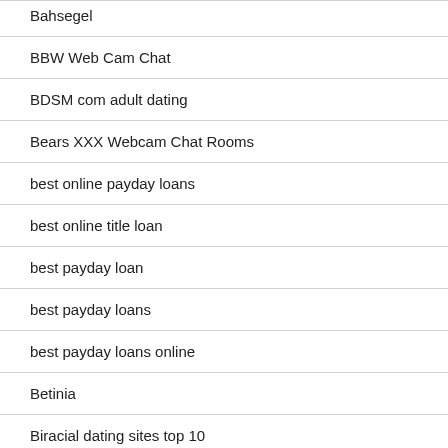Bahsegel
BBW Web Cam Chat
BDSM com adult dating
Bears XXX Webcam Chat Rooms
best online payday loans
best online title loan
best payday loan
best payday loans
best payday loans online
Betinia
Biracial dating sites top 10